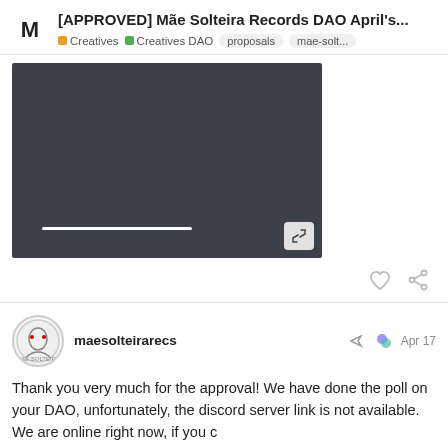[APPROVED] Mãe Solteira Records DAO April's...
Creatives  Creatives DAO  proposals  mae-solt...
[Figure (screenshot): Dark video player thumbnail with a white progress bar and an expand/fullscreen button in the bottom-right corner]
maesolteirarecs  Apr 17
Thank you very much for the approval! We have done the poll on your DAO, unfortunately, the discord server link is not available. We are online right now, if you c... would be very pleased to have access t... could be joining better organization...
13 / 16